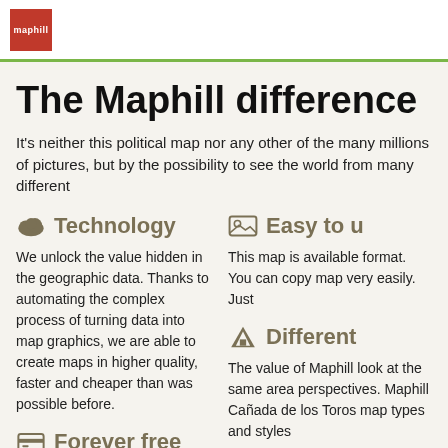maphill
The Maphill difference
It's neither this political map nor any other of the many millions of pictures, but by the possibility to see the world from many different perspectives.
Technology
We unlock the value hidden in the geographic data. Thanks to automating the complex process of turning data into map graphics, we are able to create maps in higher quality, faster and cheaper than was possible before.
Forever free
We created Maphill to make the web a more beautiful place. Without you having to pay for it. Maphill maps are and will always be available for free.
Easy to use
This map is available in a common image format. You can copy, print or embed the map very easily. Ju...
Different perspectives
The value of Maphill lies in the possibility to look at the same area from several different perspectives. Maphill allows you to explore Cañada de los Toros from a wide range of map types and styles.
Vector